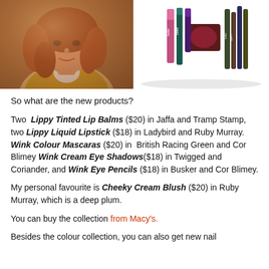[Figure (photo): Left: portrait photo of a woman with auburn/red wavy hair wearing a yellow top. Right: product photo of butter London makeup collection including lipsticks, mascaras, eye shadows, and pencils arranged together on white background.]
So what are the new products?
Two Lippy Tinted Lip Balms ($20) in Jaffa and Tramp Stamp, two Lippy Liquid Lipstick ($18) in Ladybird and Ruby Murray. Wink Colour Mascaras ($20) in British Racing Green and Cor Blimey Wink Cream Eye Shadows($18) in Twigged and Coriander, and Wink Eye Pencils ($18) in Busker and Cor Blimey.
My personal favourite is Cheeky Cream Blush ($20) in Ruby Murray, which is a deep plum.
You can buy the collection from Macy's.
Besides the colour collection, you can also get new nail